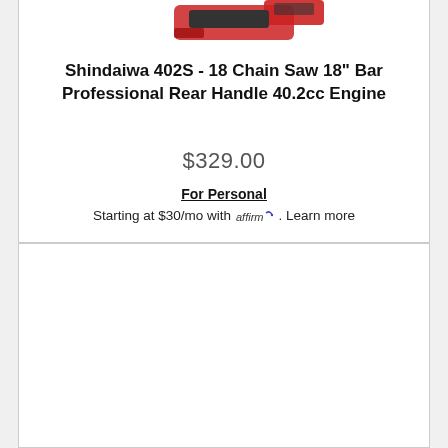[Figure (photo): Partial image of a red chainsaw at the top of a product card]
Shindaiwa 402S - 18 Chain Saw 18" Bar Professional Rear Handle 40.2cc Engine
$329.00
For Personal
Starting at $30/mo with affirm. Learn more
ADD TO CART